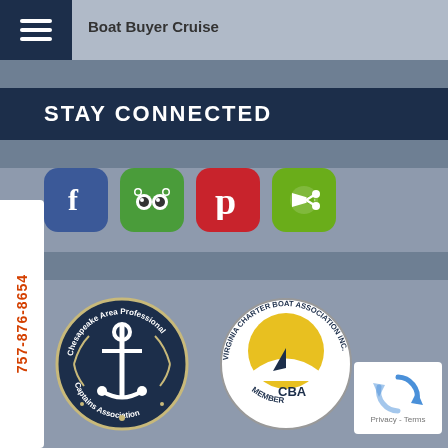Boat Buyer Cruise
STAY CONNECTED
[Figure (screenshot): Social media icon buttons: Facebook (blue), TripAdvisor (green), Pinterest (red), Google+ (lime green)]
757-876-8654
[Figure (logo): Chesapeake Area Professional Captains Association circular logo with anchor]
[Figure (logo): Virginia Charter Boat Association Inc Member circular logo]
[Figure (logo): reCAPTCHA badge with Privacy and Terms]